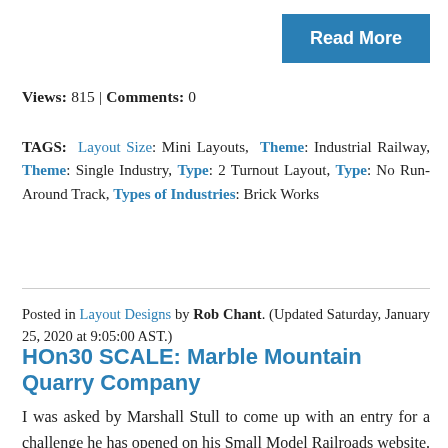[Figure (other): Blue 'Read More' button in top-right corner]
Views: 815 | Comments: 0
TAGS: Layout Size: Mini Layouts, Theme: Industrial Railway, Theme: Single Industry, Type: 2 Turnout Layout, Type: No Run-Around Track, Types of Industries: Brick Works
Posted in Layout Designs by Rob Chant. (Updated Saturday, January 25, 2020 at 9:05:00 AST.)
HOn30 SCALE: Marble Mountain Quarry Company
I was asked by Marshall Stull to come up with an entry for a challenge he has opened on his Small Model Railroads website. The challenge